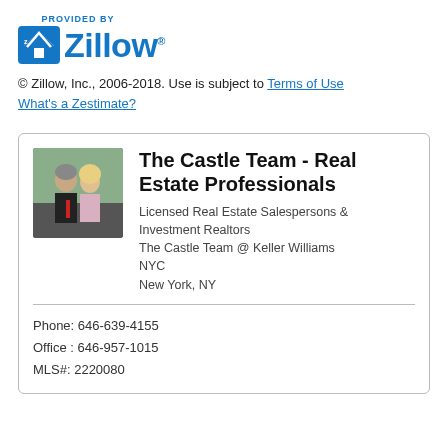[Figure (logo): Zillow logo with 'PROVIDED BY' text above, blue and white]
© Zillow, Inc., 2006-2018. Use is subject to Terms of Use
What's a Zestimate?
The Castle Team - Real Estate Professionals
Licensed Real Estate Salespersons & Investment Realtors
The Castle Team @ Keller Williams NYC
New York, NY
Phone: 646-639-4155
Office : 646-957-1015
MLS#: 2220080